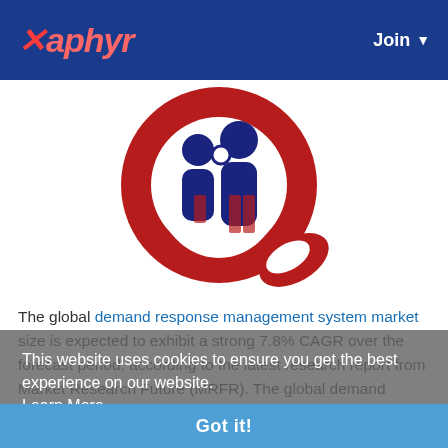Xaphyr — Join
[Figure (logo): Market Research Future (MRFR) logo — a stylized letter Q shape in dark red/crimson with two human figure silhouettes in dark navy blue in the center, connected by a small circle, representing market data/research branding.]
The global demand response management system market size is expected to exhibit a strong 7.8% CAGR over the forecast period, according to the latest research report from Market Research Future (MRFR). The global demand response management system market share was valued at USD 21.8 billion in 2017 and is expected to rise to a valuation of USD 45.6 billion by 2023. The global demand
This website uses cookies to ensure you get the best experience on our website. Learn More
Got it!